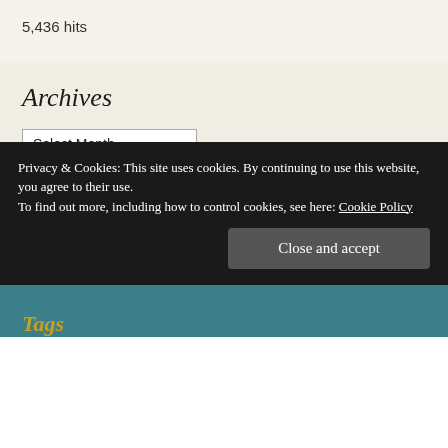5,436 hits
Archives
Select Month
Follow Book Reviews -
Privacy & Cookies: This site uses cookies. By continuing to use this website, you agree to their use. To find out more, including how to control cookies, see here: Cookie Policy
Close and accept
Tags